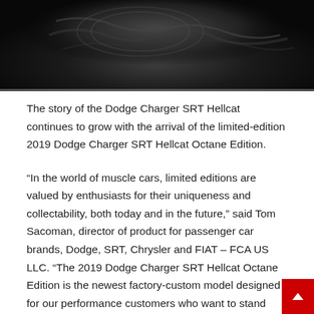[Figure (photo): Dark background photo showing what appears to be cables or automotive parts against a very dark/black surface, partially visible at top of page]
The story of the Dodge Charger SRT Hellcat continues to grow with the arrival of the limited-edition 2019 Dodge Charger SRT Hellcat Octane Edition.
“In the world of muscle cars, limited editions are valued by enthusiasts for their uniqueness and collectability, both today and in the future,” said Tom Sacoman, director of product for passenger car brands, Dodge, SRT, Chrysler and FIAT – FCA US LLC. “The 2019 Dodge Charger SRT Hellcat Octane Edition is the newest factory-custom model designed for our performance customers who want to stand apart from the pack.”
Available to order now at Dodge//SRT dealers, the blacked-out